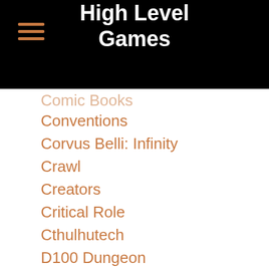High Level Games
Comic Books (partial)
Conventions
Corvus Belli: Infinity
Crawl
Creators
Critical Role
Cthulhutech
D100 Dungeon
D20
D&D
D&D Beyond
Deadlands
Defenders Of Tokyo
Degenesis
Detako Saga
Discord (partial)